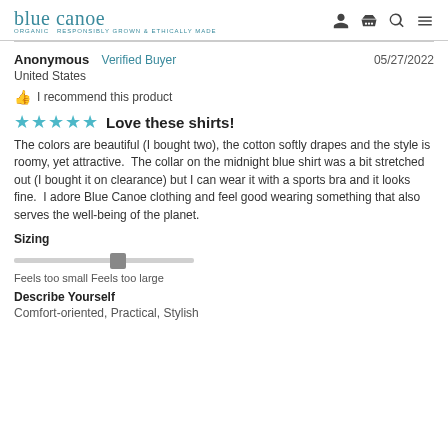blue canoe organic
Anonymous  Verified Buyer  05/27/2022
United States
I recommend this product
Love these shirts!
The colors are beautiful (I bought two), the cotton softly drapes and the style is roomy, yet attractive. The collar on the midnight blue shirt was a bit stretched out (I bought it on clearance) but I can wear it with a sports bra and it looks fine. I adore Blue Canoe clothing and feel good wearing something that also serves the well-being of the planet.
Sizing
Feels too smallFeels too large
Describe Yourself
Comfort-oriented, Practical, Stylish